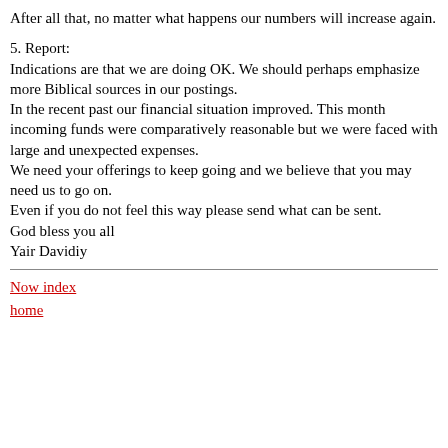After all that, no matter what happens our numbers will increase again.
5. Report:
Indications are that we are doing OK. We should perhaps emphasize more Biblical sources in our postings.
In the recent past our financial situation improved. This month incoming funds were comparatively reasonable but we were faced with large and unexpected expenses.
We need your offerings to keep going and we believe that you may need us to go on.
Even if you do not feel this way please send what can be sent.
God bless you all
Yair Davidiy
Now index
home